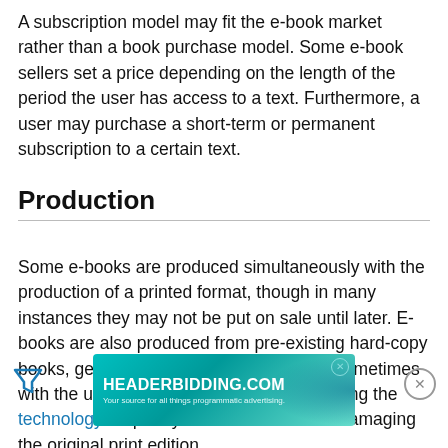A subscription model may fit the e-book market rather than a book purchase model. Some e-book sellers set a price depending on the length of the period the user has access to a text. Furthermore, a user may purchase a short-term or permanent subscription to a certain text.
Production
Some e-books are produced simultaneously with the production of a printed format, though in many instances they may not be put on sale until later. E-books are also produced from pre-existing hard-copy books, generally by document scanning, sometimes with the use of robotic book scanners, having the technology to quickly scan books without damaging the original print edition. Scanning a book produces an image file, which is then converted... newer developments... of a book is produced by the publisher.
[Figure (other): HEADERBIDDING.COM advertisement banner — teal gradient background with circuit board pattern on right, white bold text reading HEADERBIDDING.COM with tagline Your source for all things programmatic advertising.]